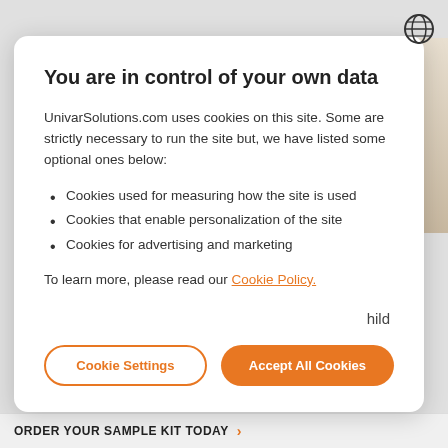[Figure (illustration): Globe/language icon in top right corner]
You are in control of your own data
UnivarSolutions.com uses cookies on this site. Some are strictly necessary to run the site but, we have listed some optional ones below:
Cookies used for measuring how the site is used
Cookies that enable personalization of the site
Cookies for advertising and marketing
To learn more, please read our Cookie Policy.
Cookie Settings | Accept All Cookies (buttons)
ORDER YOUR SAMPLE KIT TODAY →